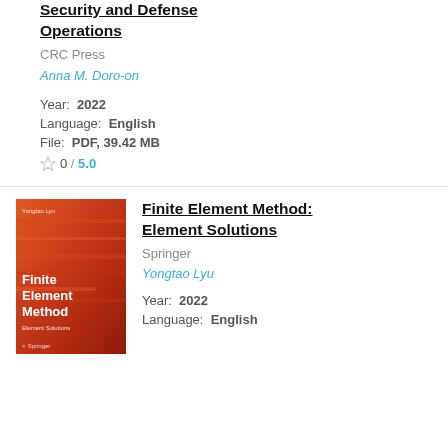Security and Defense Operations
CRC Press
Anna M. Doro-on
Year: 2022
Language: English
File: PDF, 39.42 MB
0 / 5.0
[Figure (illustration): Book cover of Finite Element Method: Element Solutions — red/orange abstract background with white text showing title and author Yongtao Lyu, Springer logo]
Finite Element Method: Element Solutions
Springer
Yongtao Lyu
Year: 2022
Language: English